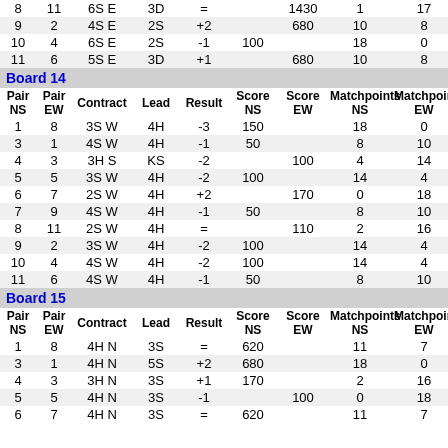| Pair NS | Pair EW | Contract | Lead | Result | Score NS | Score EW | Matchpoints NS | Matchpoints EW |
| --- | --- | --- | --- | --- | --- | --- | --- | --- |
| 8 | 11 | 6S E | 3D | = |  | 1430 | 1 | 17 |
| 9 | 2 | 4S E | 2S | +2 |  | 680 | 10 | 8 |
| 10 | 4 | 6S E | 2S | -1 | 100 |  | 18 | 0 |
| 11 | 6 | 5S E | 3D | +1 |  | 680 | 10 | 8 |
Board 14
| Pair NS | Pair EW | Contract | Lead | Result | Score NS | Score EW | Matchpoints NS | Matchpoints EW |
| --- | --- | --- | --- | --- | --- | --- | --- | --- |
| 1 | 8 | 3S W | 4H | -3 | 150 |  | 18 | 0 |
| 3 | 1 | 4S W | 4H | -1 | 50 |  | 8 | 10 |
| 4 | 3 | 3H S | KS | -2 |  | 100 | 4 | 14 |
| 5 | 5 | 3S W | 4H | -2 | 100 |  | 14 | 4 |
| 6 | 7 | 2S W | 4H | +2 |  | 170 | 0 | 18 |
| 7 | 9 | 4S W | 4H | -1 | 50 |  | 8 | 10 |
| 8 | 11 | 2S W | 4H | = |  | 110 | 2 | 16 |
| 9 | 2 | 3S W | 4H | -2 | 100 |  | 14 | 4 |
| 10 | 4 | 4S W | 4H | -2 | 100 |  | 14 | 4 |
| 11 | 6 | 4S W | 4H | -1 | 50 |  | 8 | 10 |
Board 15
| Pair NS | Pair EW | Contract | Lead | Result | Score NS | Score EW | Matchpoints NS | Matchpoints EW |
| --- | --- | --- | --- | --- | --- | --- | --- | --- |
| 1 | 8 | 4H N | 3S | = | 620 |  | 11 | 7 |
| 3 | 1 | 4H N | 5S | +2 | 680 |  | 18 | 0 |
| 4 | 3 | 3H N | 3S | +1 | 170 |  | 2 | 16 |
| 5 | 5 | 4H N | 3S | -1 |  | 100 | 0 | 18 |
| 6 | 7 | 4H N | 3S | = | 620 |  | 11 | 7 |